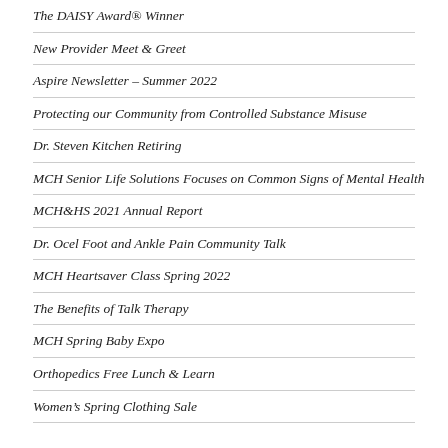The DAISY Award® Winner
New Provider Meet & Greet
Aspire Newsletter – Summer 2022
Protecting our Community from Controlled Substance Misuse
Dr. Steven Kitchen Retiring
MCH Senior Life Solutions Focuses on Common Signs of Mental Health
MCH&HS 2021 Annual Report
Dr. Ocel Foot and Ankle Pain Community Talk
MCH Heartsaver Class Spring 2022
The Benefits of Talk Therapy
MCH Spring Baby Expo
Orthopedics Free Lunch & Learn
Women's Spring Clothing Sale